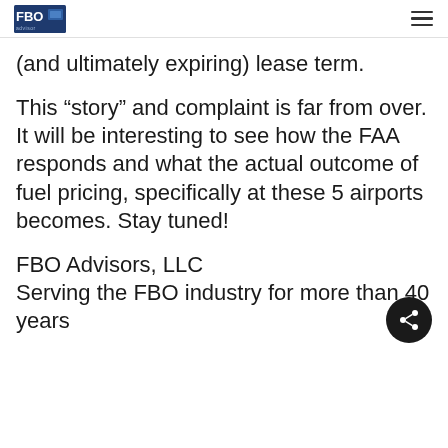FBO Advisors logo and navigation menu
(and ultimately expiring) lease term.
This “story” and complaint is far from over. It will be interesting to see how the FAA responds and what the actual outcome of fuel pricing, specifically at these 5 airports becomes. Stay tuned!
FBO Advisors, LLC
Serving the FBO industry for more than 40 years